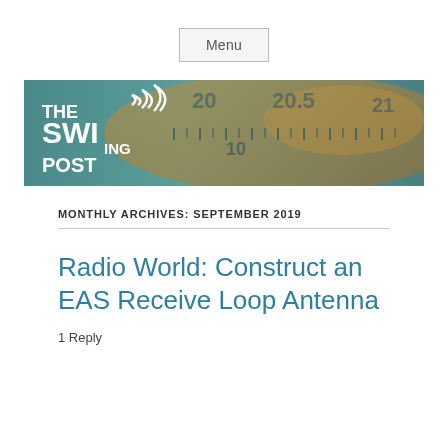Menu
[Figure (logo): The Swinging Post banner logo with radio dial background showing numbers 20, 20.5, 21 and world map. White text reads THE SWINGING POST with stylized wave lines.]
MONTHLY ARCHIVES: SEPTEMBER 2019
Radio World: Construct an EAS Receive Loop Antenna
1 Reply